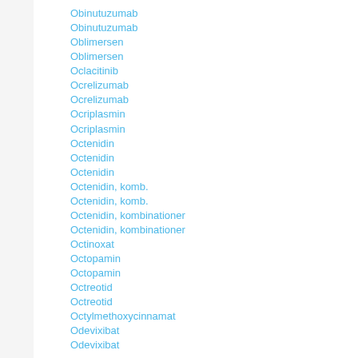Obinutuzumab
Obinutuzumab
Oblimersen
Oblimersen
Oclacitinib
Ocrelizumab
Ocrelizumab
Ocriplasmin
Ocriplasmin
Octenidin
Octenidin
Octenidin
Octenidin, komb.
Octenidin, komb.
Octenidin, kombinationer
Octenidin, kombinationer
Octinoxat
Octopamin
Octopamin
Octreotid
Octreotid
Octylmethoxycinnamat
Odevixibat
Odevixibat